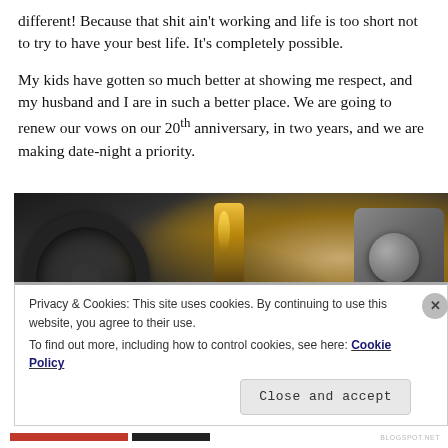different! Because that shit ain't working and life is too short not to try to have your best life. It's completely possible.
My kids have gotten so much better at showing me respect, and my husband and I are in such a better place. We are going to renew our vows on our 20th anniversary, in two years, and we are making date-night a priority.
[Figure (photo): Close-up photo of a car interior showing a steering wheel on the left, a gold trophy or ornament in the center, and part of the dashboard and gear area on the right.]
Privacy & Cookies: This site uses cookies. By continuing to use this website, you agree to their use.
To find out more, including how to control cookies, see here: Cookie Policy
Close and accept